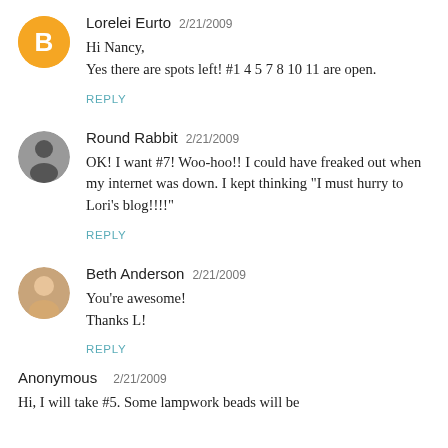Lorelei Eurto  2/21/2009
Hi Nancy,
Yes there are spots left! #1 4 5 7 8 10 11 are open.
REPLY
Round Rabbit  2/21/2009
OK! I want #7! Woo-hoo!! I could have freaked out when my internet was down. I kept thinking "I must hurry to Lori's blog!!!!"
REPLY
Beth Anderson  2/21/2009
You're awesome!
Thanks L!
REPLY
Anonymous  2/21/2009
Hi, I will take #5. Some lampwork beads will be